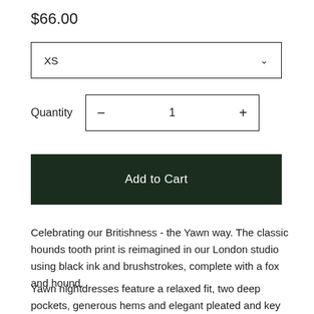$66.00
XS
Quantity  −  1  +
Add to Cart
Celebrating our Britishness - the Yawn way. The classic hounds tooth print is reimagined in our London studio using black ink and brushstrokes, complete with a fox and hound.
Yawn nightdresses feature a relaxed fit, two deep pockets, generous hems and elegant pleated and key hole back detail.